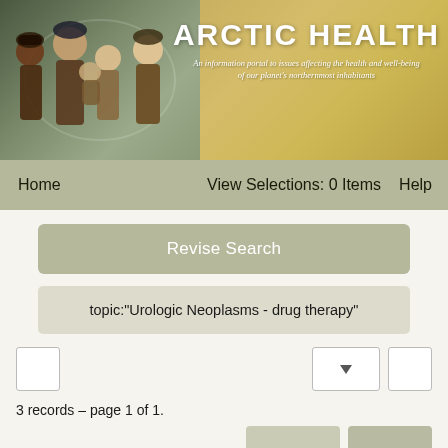[Figure (photo): Arctic Health website header banner with photo of Arctic people in winter clothing on left and golden/tan background with site title on right]
ARCTIC HEALTH
An information portal to issues affecting the health and well-being of our planet's northernmost inhabitants
Home    View Selections: 0 Items    Help
Revise Search
topic:"Urologic Neoplasms - drug therapy"
3 records – page 1 of 1.
Open clinical uro-oncology trials in